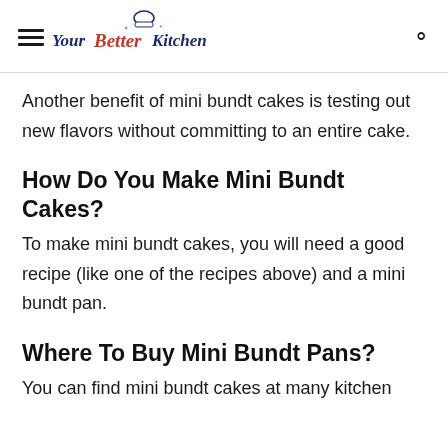Your Better Kitchen
Another benefit of mini bundt cakes is testing out new flavors without committing to an entire cake.
How Do You Make Mini Bundt Cakes?
To make mini bundt cakes, you will need a good recipe (like one of the recipes above) and a mini bundt pan.
Where To Buy Mini Bundt Pans?
You can find mini bundt cakes at many kitchen